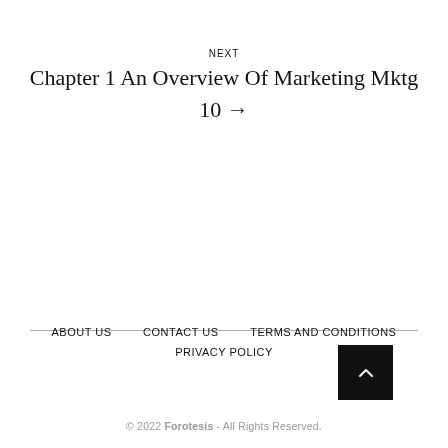NEXT
Chapter 1 An Overview Of Marketing Mktg 10 →
ABOUT US   CONTACT US   TERMS AND CONDITIONS
PRIVACY POLICY
© 2022 Forotesis - All Rights Reserved.